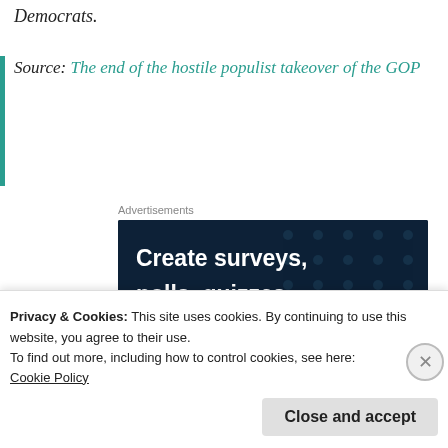Democrats.
Source: The end of the hostile populist takeover of the GOP
Advertisements
[Figure (other): Advertisement banner with dark navy background and dot pattern. Text reads: 'Create surveys, polls, quizzes, and forms.' with a pink 'Start now' button.]
Privacy & Cookies: This site uses cookies. By continuing to use this website, you agree to their use.
To find out more, including how to control cookies, see here:
Cookie Policy
Close and accept